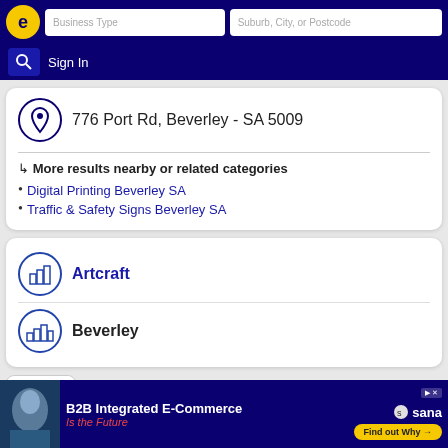Business Type | Suburb, City, or Postcode | Sign In
776 Port Rd, Beverley - SA 5009
↳ More results nearby or related categories
Digital Printing Beverley SA
Traffic & Safety Signs Beverley SA
Artcraft
Beverley
[Figure (screenshot): B2B Integrated E-Commerce Is the Future advertisement banner with Sana logo and Find out Why button]